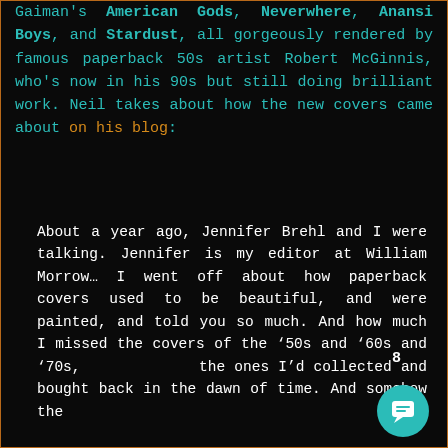Gaiman's American Gods, Neverwhere, Anansi Boys, and Stardust, all gorgeously rendered by famous paperback 50s artist Robert McGinnis, who's now in his 90s but still doing brilliant work. Neil takes about how the new covers came about on his blog:
About a year ago, Jennifer Brehl and I were talking. Jennifer is my editor at William Morrow… I went off about how paperback covers used to be beautiful, and were painted, and told you so much. And how much I missed the covers of the '50s and '60s and '70s, the ones I'd collected and bought back in the dawn of time. And somehow the